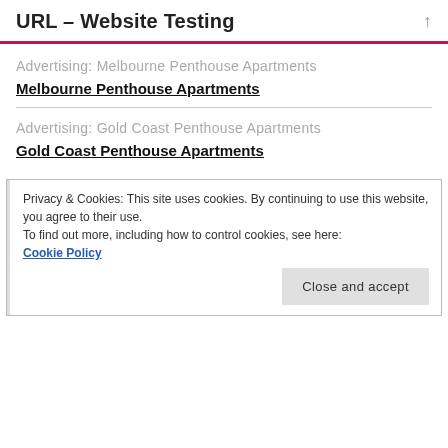URL – Website Testing
Advertising: Melbourne Penthouse Apartments
Melbourne Penthouse Apartments
Advertising: Gold Coast Penthouse Apartments
Gold Coast Penthouse Apartments
Privacy & Cookies: This site uses cookies. By continuing to use this website, you agree to their use.
To find out more, including how to control cookies, see here:
Cookie Policy
Close and accept